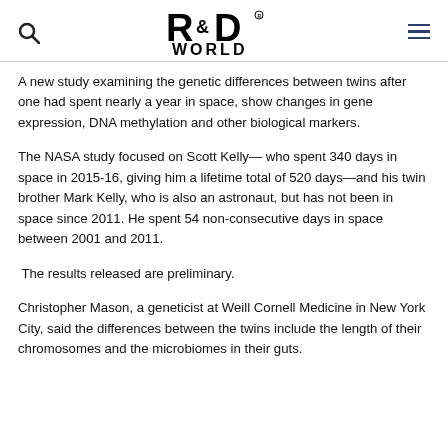R&D WORLD
A new study examining the genetic differences between twins after one had spent nearly a year in space, show changes in gene expression, DNA methylation and other biological markers.
The NASA study focused on Scott Kelly— who spent 340 days in space in 2015-16, giving him a lifetime total of 520 days—and his twin brother Mark Kelly, who is also an astronaut, but has not been in space since 2011. He spent 54 non-consecutive days in space between 2001 and 2011.
The results released are preliminary.
Christopher Mason, a geneticist at Weill Cornell Medicine in New York City, said the differences between the twins include the length of their chromosomes and the microbiomes in their guts.